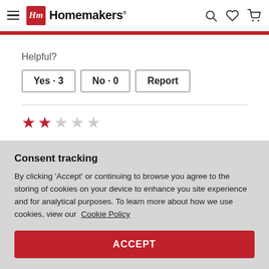Homemakers
Helpful?
Yes · 3   No · 0   Report
[Figure (other): 2 red filled stars and 3 empty grey stars rating display]
Consent tracking
By clicking 'Accept' or continuing to browse you agree to the storing of cookies on your device to enhance you site experience and for analytical purposes. To learn more about how we use cookies, view our  Cookie Policy
ACCEPT